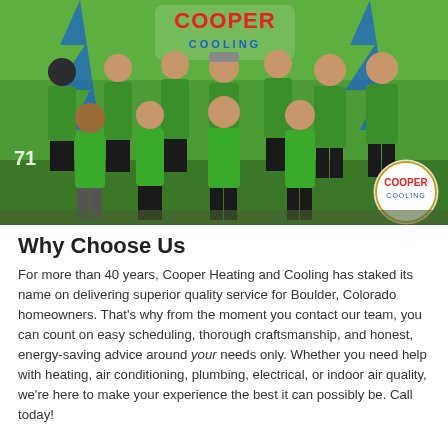[Figure (photo): Group photo of Cooper Heating and Cooling team members wearing green polo shirts, standing in front of a green branded Cooper Cooling van with lightning bolt graphics. A Cooper Cooling circular logo badge is visible in the lower right corner. The number 716 is partially visible on the van. Approximately 10 team members are shown, most wearing sunglasses.]
Why Choose Us
For more than 40 years, Cooper Heating and Cooling has staked its name on delivering superior quality service for Boulder, Colorado homeowners. That's why from the moment you contact our team, you can count on easy scheduling, thorough craftsmanship, and honest, energy-saving advice around your needs only. Whether you need help with heating, air conditioning, plumbing, electrical, or indoor air quality, we're here to make your experience the best it can possibly be. Call today!